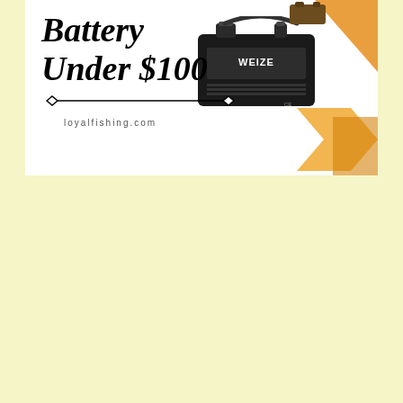[Figure (infographic): Promotional banner with bold italic text 'Battery Under $100', a decorative diamond-ended horizontal line, loyalfishing.com website text, a photo of a black WEIZE battery, and orange geometric arrow/chevron shapes in the top-right corner. Below the banner is a pale yellow background area.]
loyalfishing.com